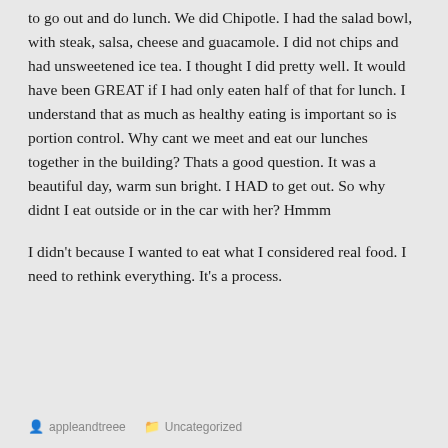to go out and do lunch. We did Chipotle. I had the salad bowl, with steak, salsa, cheese and guacamole. I did not chips and had unsweetened ice tea. I thought I did pretty well. It would have been GREAT if I had only eaten half of that for lunch. I understand that as much as healthy eating is important so is portion control. Why cant we meet and eat our lunches together in the building? Thats a good question. It was a beautiful day, warm sun bright. I HAD to get out. So why didnt I eat outside or in the car with her? Hmmm
I didn't because I wanted to eat what I considered real food. I need to rethink everything. It's a process.
appleandtreee   Uncategorized